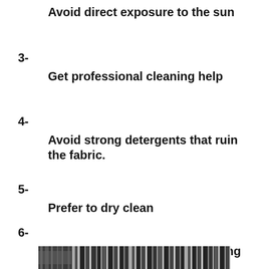Avoid direct exposure to the sun
3-
Get professional cleaning help
4-
Avoid strong detergents that ruin the fabric.
5-
Prefer to dry clean
6-
Solvents for spill or spot cleaning
[Figure (photo): Partial photo of fabric/textile with barcode-like striped pattern at bottom of page]